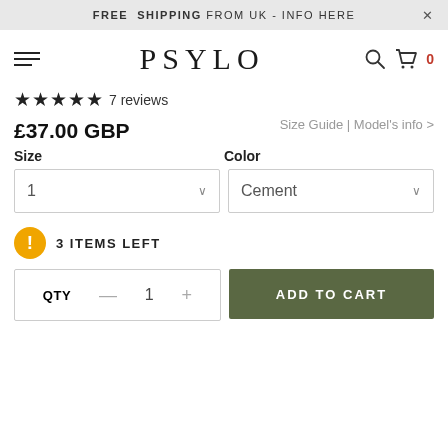FREE SHIPPING FROM UK - INFO HERE
[Figure (logo): PSYLO brand logo in serif font with hamburger menu, search icon, and cart with 0 count]
★★★★★ 7 reviews
£37.00 GBP
Size Guide | Model's info >
Size
Color
1
Cement
3 ITEMS LEFT
QTY — 1 +
ADD TO CART